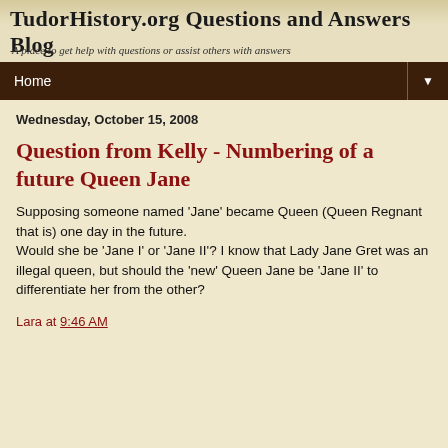TudorHistory.org Questions and Answers Blog
A place to get help with questions or assist others with answers
Question from Kelly - Numbering of a future Queen Jane
Wednesday, October 15, 2008
Supposing someone named 'Jane' became Queen (Queen Regnant that is) one day in the future. Would she be 'Jane I' or 'Jane II'? I know that Lady Jane Gret was an illegal queen, but should the 'new' Queen Jane be 'Jane II' to differentiate her from the other?
Lara at 9:46 AM